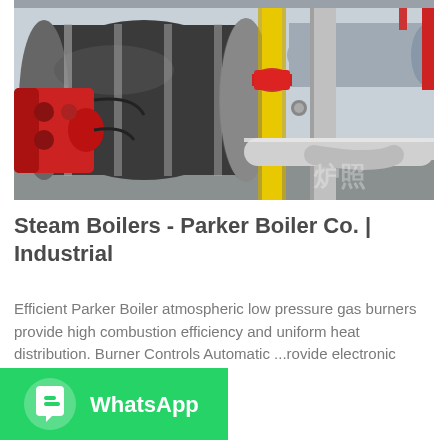[Figure (photo): Industrial steam boiler installation showing a large cylindrical boiler body with a red burner assembly on the left, yellow vertical gas pipe in the center, grey/silver piping and a horizontal cylindrical tank on the right, inside an industrial building.]
Steam Boilers - Parker Boiler Co. | Industrial
Efficient Parker Boiler atmospheric low pressure gas burners provide high combustion efficiency and uniform heat distribution. Burner Controls Automatic ...rovide electronic flame supervisio...
[Figure (logo): WhatsApp button — green rounded rectangle with WhatsApp phone icon and 'WhatsApp' text in white.]